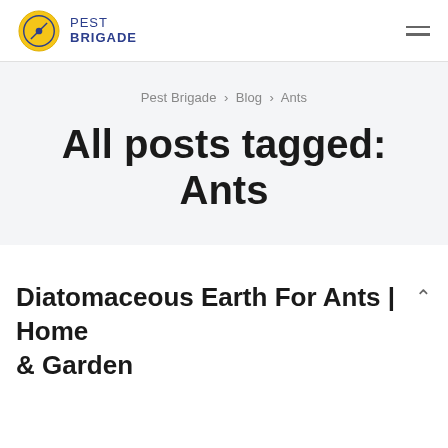PEST BRIGADE
Pest Brigade › Blog › Ants
All posts tagged: Ants
Diatomaceous Earth For Ants | Home & Garden